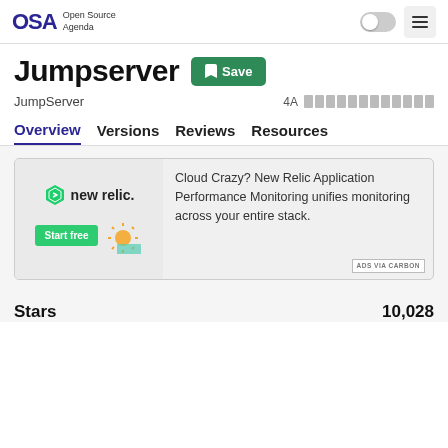OSA Open Source Agenda
Jumpserver Save
JumpServer   4A [boxes]
Overview   Versions   Reviews   Resources
[Figure (other): New Relic advertisement banner. Shows New Relic logo with 'Start free' green button and sun graphic on left. Text on right reads: Cloud Crazy? New Relic Application Performance Monitoring unifies monitoring across your entire stack. ADS VIA CARBON label at bottom right.]
Stars   10,028